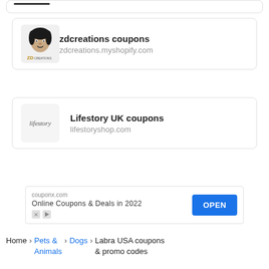[Figure (logo): ZD Creations logo with illustrated face and brand text]
zdcreations coupons
zdcreations.myshopify.com
[Figure (logo): Lifestory wordmark logo in gray]
Lifestory UK coupons
lifestoryshop.com
[Figure (screenshot): Advertisement: couponx.com - Online Coupons & Deals in 2022 - OPEN button]
Home > Pets & Animals > Dogs > Labra USA coupons & promo codes